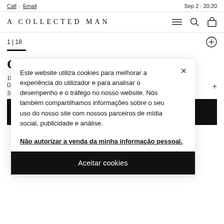Call · Email    Sep 2 · 20:20
A COLLECTED MAN
1 | 18
Grönefold
194...
Dia...
Sol...
Este website utiliza cookies para melhorar a experiência do utilizador e para analisar o desempenho e o tráfego no nosso website. Nós também compartilhamos informações sobre o seu uso do nosso site com nossos parceiros de mídia social, publicidade e análise.
Não autorizar a venda da minha informação pessoal.
Aceitar cookies